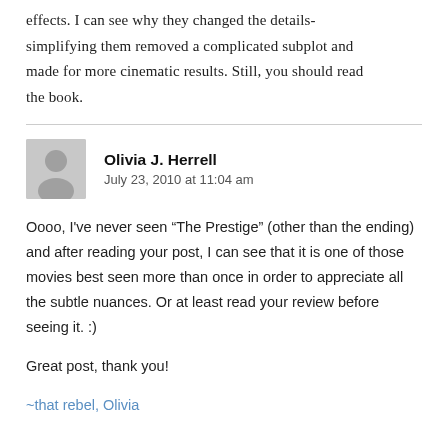effects. I can see why they changed the details- simplifying them removed a complicated subplot and made for more cinematic results. Still, you should read the book.
Olivia J. Herrell
July 23, 2010 at 11:04 am
Oooo, I've never seen “The Prestige” (other than the ending) and after reading your post, I can see that it is one of those movies best seen more than once in order to appreciate all the subtle nuances. Or at least read your review before seeing it. :)
Great post, thank you!
~that rebel, Olivia